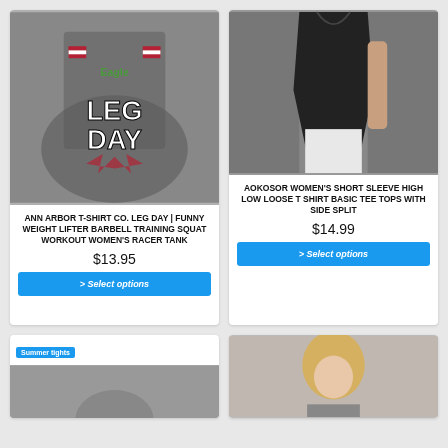[Figure (photo): Gray tank top with Leg Day barbell graphic and eagle design]
ANN ARBOR T-SHIRT CO. LEG DAY | FUNNY WEIGHT LIFTER BARBELL TRAINING SQUAT WORKOUT WOMEN'S RACER TANK
$13.95
> Select options
[Figure (photo): Black high-low loose t-shirt with side split on female model]
AOKOSOR WOMEN'S SHORT SLEEVE HIGH LOW LOOSE T SHIRT BASIC TEE TOPS WITH SIDE SPLIT
$14.99
> Select options
[Figure (photo): Product with Summer tights badge, partial view]
[Figure (photo): Blonde woman, partial product view]